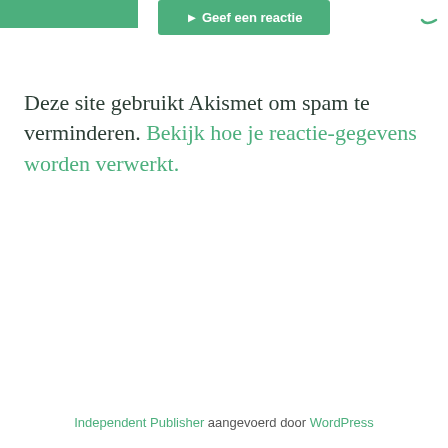Geef een reactie
Deze site gebruikt Akismet om spam te verminderen. Bekijk hoe je reactie-gegevens worden verwerkt.
Independent Publisher aangevoerd door WordPress